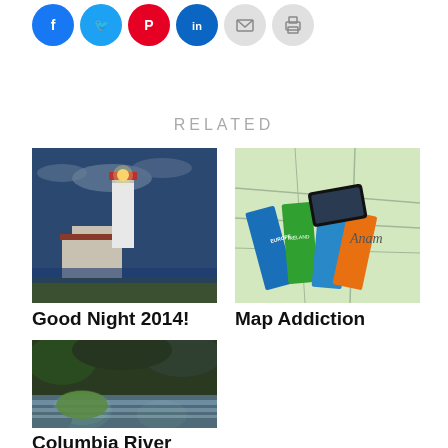[Figure (other): Social sharing icon buttons: Facebook (blue circle), Twitter (blue circle), Pinterest (red circle), LinkedIn (blue circle), Email (gray circle), Print (gray circle)]
RELATED
[Figure (photo): Lighthouse at dusk with glowing light, dark blue sky with clouds, white lighthouse tower with red roof building]
Good Night 2014!
[Figure (photo): Maps and travel guidebooks spread out with a smartphone on top, Ireland and Europe travel guides visible]
Map Addiction
[Figure (photo): Columbia River Gorge with mossy green rocks and flowing water stream]
Columbia River Gorge – Day 1 –